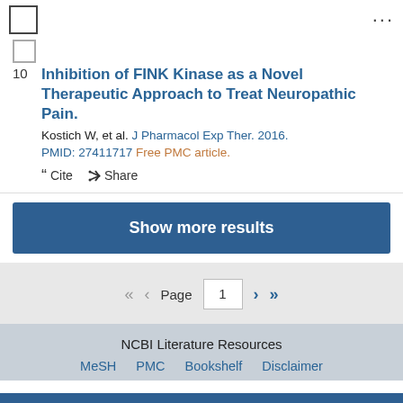Inhibition of FINK Kinase as a Novel Therapeutic Approach to Treat Neuropathic Pain.
Kostich W, et al. J Pharmacol Exp Ther. 2016.
PMID: 27411717 Free PMC article.
" Cite  Share
Show more results
Page 1
NCBI Literature Resources
MeSH   PMC   Bookshelf   Disclaimer